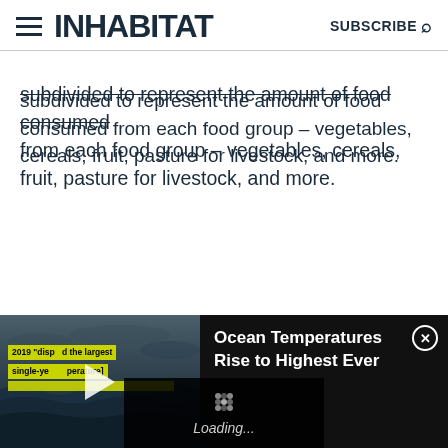INHABIT   SUBSCRIBE
subdivided to represent the amount of food consumed from each food group – vegetables, cereals, fruit, pasture for livestock, and more.
[Figure (screenshot): Video player thumbnail showing ocean waves with dark stormy sky. Yellow text overlay reads '2019 [disp... the largest single-ye... perature]'. A white play button triangle is centered on the thumbnail. To the right on black background: 'Ocean Temperatures Rise to Highest Ever' with a close (X) button. Below center: a loading spinner and 'Loading...' text.]